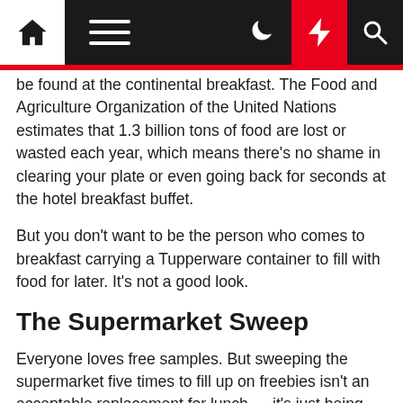Navigation bar with home, menu, moon, bolt, and search icons
be found at the continental breakfast. The Food and Agriculture Organization of the United Nations estimates that 1.3 billion tons of food are lost or wasted each year, which means there's no shame in clearing your plate or even going back for seconds at the hotel breakfast buffet.
But you don't want to be the person who comes to breakfast carrying a Tupperware container to fill with food for later. It's not a good look.
The Supermarket Sweep
Everyone loves free samples. But sweeping the supermarket five times to fill up on freebies isn't an acceptable replacement for lunch — it's just being cheap.